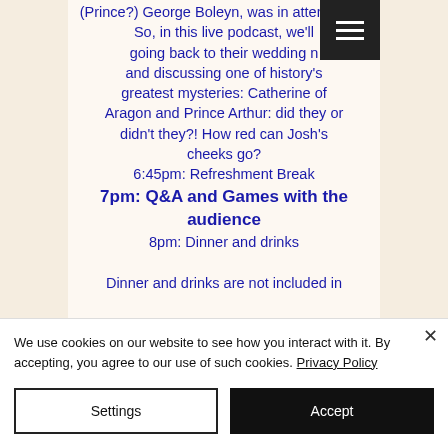(Prince?) George Boleyn, was in attendance. So, in this live podcast, we'll be going back to their wedding night and discussing one of history's greatest mysteries: Catherine of Aragon and Prince Arthur: did they or didn't they?! How red can Josh's cheeks go?
6:45pm: Refreshment Break
7pm: Q&A and Games with the audience
8pm: Dinner and drinks

Dinner and drinks are not included in
We use cookies on our website to see how you interact with it. By accepting, you agree to our use of such cookies. Privacy Policy
Settings
Accept